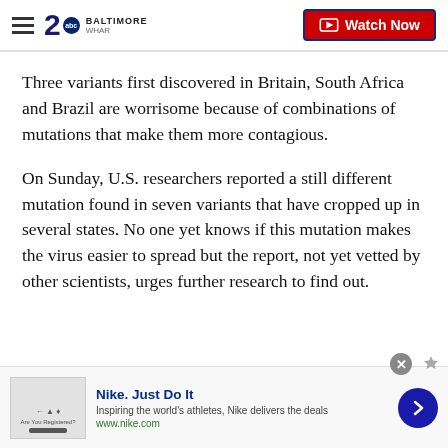2 BALTIMORE WHAR | Watch Now
Three variants first discovered in Britain, South Africa and Brazil are worrisome because of combinations of mutations that make them more contagious.
On Sunday, U.S. researchers reported a still different mutation found in seven variants that have cropped up in several states. No one yet knows if this mutation makes the virus easier to spread but the report, not yet vetted by other scientists, urges further research to find out.
[Figure (screenshot): Nike advertisement banner: 'Nike. Just Do It' — Inspiring the world's athletes, Nike delivers the deals — www.nike.com]